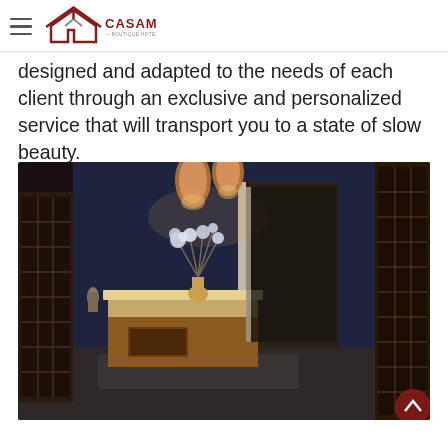CASAMONA — Boutique Hotel & Spa
designed and adapted to the needs of each client through an exclusive and personalized service that will transport you to a state of slow beauty.
[Figure (photo): Interior of a luxury spa/hotel reception area with dark wooden ornamental screens on walls, a wooden reception desk with white floral arrangement under copper pendant lights, and a long corridor leading to treatment rooms, illuminated with warm lighting.]